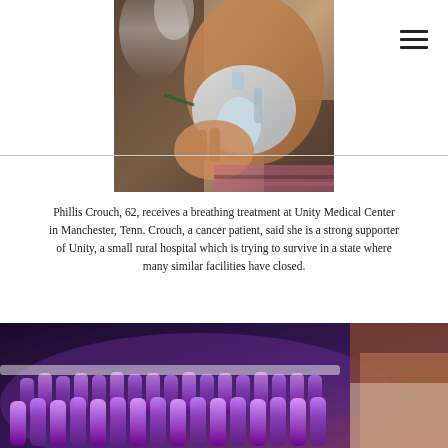[Figure (photo): Close-up photo of an elderly person wearing an oxygen/breathing mask, receiving a breathing treatment. The person's hand is visible holding the mask. Background is dark/blurred.]
Phillis Crouch, 62, receives a breathing treatment at Unity Medical Center in Manchester, Tenn. Crouch, a cancer patient, said she is a strong supporter of Unity, a small rural hospital which is trying to survive in a state where many similar facilities have closed.
[Figure (photo): Photo of rows of small purple/violet test tubes or vials illuminated with purple light, with a person in a white coat visible at the right edge.]